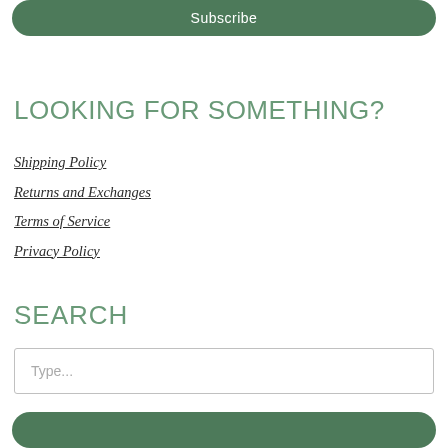[Figure (other): Green rounded button labeled Subscribe at the top of the page]
LOOKING FOR SOMETHING?
Shipping Policy
Returns and Exchanges
Terms of Service
Privacy Policy
SEARCH
[Figure (other): Search input box with placeholder text Type...]
[Figure (other): Green rounded button partially visible at the bottom of the page]